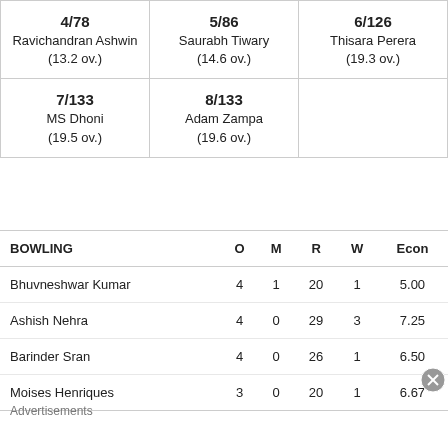|  |  |  |
| --- | --- | --- |
| 4/78
Ravichandran Ashwin
(13.2 ov.) | 5/86
Saurabh Tiwary
(14.6 ov.) | 6/126
Thisara Perera
(19.3 ov.) |
| 7/133
MS Dhoni
(19.5 ov.) | 8/133
Adam Zampa
(19.6 ov.) |  |
| BOWLING | O | M | R | W | Econ |
| --- | --- | --- | --- | --- | --- |
| Bhuvneshwar Kumar | 4 | 1 | 20 | 1 | 5.00 |
| Ashish Nehra | 4 | 0 | 29 | 3 | 7.25 |
| Barinder Sran | 4 | 0 | 26 | 1 | 6.50 |
| Moises Henriques | 3 | 0 | 20 | 1 | 6.67 |
Advertisements